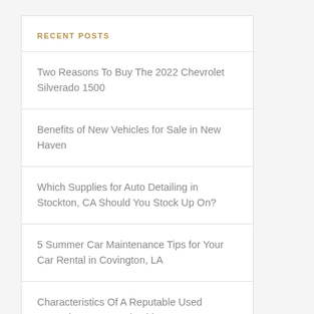RECENT POSTS
Two Reasons To Buy The 2022 Chevrolet Silverado 1500
Benefits of New Vehicles for Sale in New Haven
Which Supplies for Auto Detailing in Stockton, CA Should You Stock Up On?
5 Summer Car Maintenance Tips for Your Car Rental in Covington, LA
Characteristics Of A Reputable Used Mercedes-Benz Dealership